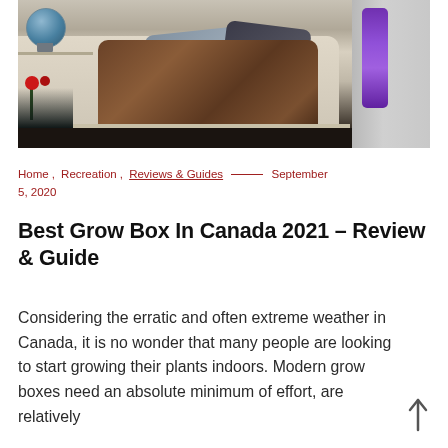[Figure (photo): Indoor scene showing a cream-colored sofa with blue-grey and dark pillows and a brown fur throw, a globe on a shelf at left, red flowers at lower left, and a grey device with a purple illuminated strip on the right side.]
Home , Recreation , Reviews & Guides _____ September 5, 2020
Best Grow Box In Canada 2021 – Review & Guide
Considering the erratic and often extreme weather in Canada, it is no wonder that many people are looking to start growing their plants indoors. Modern grow boxes need an absolute minimum of effort, are relatively